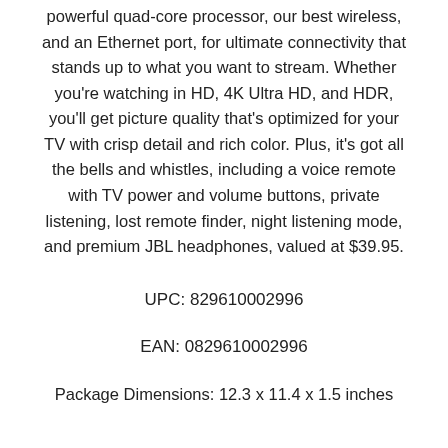powerful quad-core processor, our best wireless, and an Ethernet port, for ultimate connectivity that stands up to what you want to stream. Whether you're watching in HD, 4K Ultra HD, and HDR, you'll get picture quality that's optimized for your TV with crisp detail and rich color. Plus, it's got all the bells and whistles, including a voice remote with TV power and volume buttons, private listening, lost remote finder, night listening mode, and premium JBL headphones, valued at $39.95.
UPC: 829610002996
EAN: 0829610002996
Package Dimensions: 12.3 x 11.4 x 1.5 inches